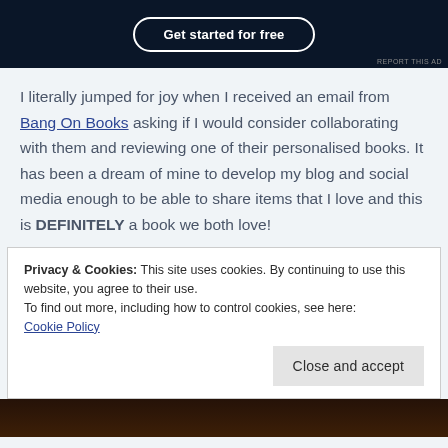[Figure (screenshot): Dark banner advertisement with a 'Get started for free' button in a rounded rectangle border on a dark navy background, with a 'REPORT THIS AD' label in the bottom right.]
I literally jumped for joy when I received an email from Bang On Books asking if I would consider collaborating with them and reviewing one of their personalised books. It has been a dream of mine to develop my blog and social media enough to be able to share items that I love and this is DEFINITELY a book we both love!
Privacy & Cookies: This site uses cookies. By continuing to use this website, you agree to their use.
To find out more, including how to control cookies, see here: Cookie Policy
Close and accept
[Figure (photo): Partial bottom image, dark brown/orange background visible at the bottom edge of the page.]